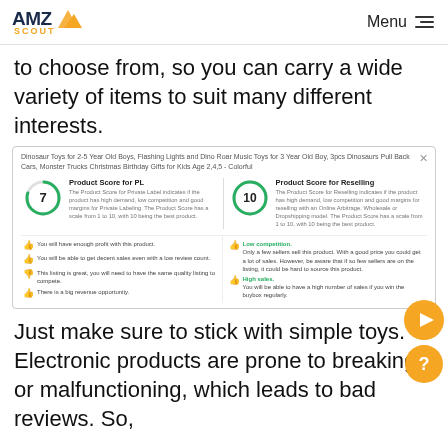AMZ Scout — Menu
to choose from, so you can carry a wide variety of items to suit many different interests.
[Figure (screenshot): AMZScout product score card showing Product Score for PL (7) and Product Score for Reselling (10) with feature bullet points for a dinosaur toy product listing.]
Just make sure to stick with simple toys. Electronic products are prone to breaking or malfunctioning, which leads to bad reviews. So,